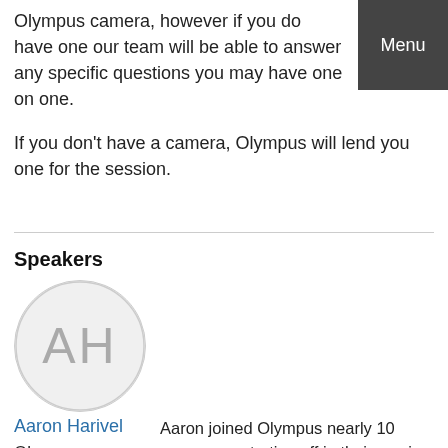Olympus camera, however if you do have one our team will be able to answer any specific questions you may have one on one.
If you don't have a camera, Olympus will lend you one for the session.
Speakers
[Figure (illustration): Avatar circle with initials AH in grey]
Aaron Harivel
Olympus
Aaron joined Olympus nearly 10 years ago, starting off in their service and repairs department and today Aaron runs Olympus' Retail Development in NSW and QLD, hosting workshops